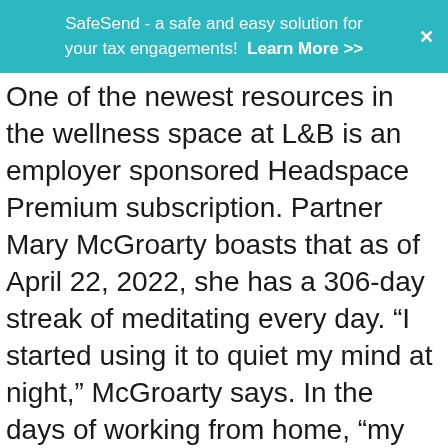SafeSend - a safe and easy solution for your tax engagements! Learn More >>
One of the newest resources in the wellness space at L&B is an employer sponsored Headspace Premium subscription. Partner Mary McGroarty boasts that as of April 22, 2022, she has a 306-day streak of meditating every day. “I started using it to quiet my mind at night,” McGroarty says. In the days of working from home, “my mind would be occupied with thoughts of what I got done, what I didn’t get done, how I could have done something better.  I found that a 5 minute winddown meditation every night helped me clear those thoughts, fall asleep quickly and stay asleep through the night.” McGroarty says she was amazed that just a few minutes focusing on breathing and